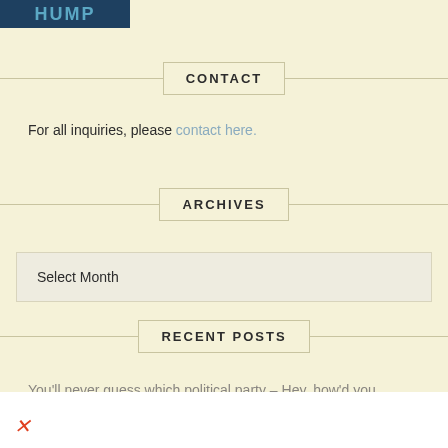[Figure (logo): HUMP logo: white text on dark blue background]
CONTACT
For all inquiries, please contact here.
ARCHIVES
Select Month
RECENT POSTS
You'll never guess which political party – Hey, how'd you know?
An Offensive?